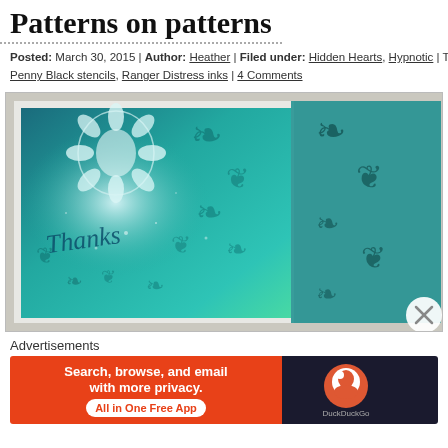Patterns on patterns
Posted: March 30, 2015 | Author: Heather | Filed under: Hidden Hearts, Hypnotic | T
Penny Black stencils, Ranger Distress inks | 4 Comments
[Figure (photo): A greeting card with teal/turquoise background featuring floral and damask stencil patterns with a cursive 'Thanks' script in the center, created using Penny Black stencils and Ranger Distress inks.]
Advertisements
[Figure (other): DuckDuckGo advertisement banner with orange background reading 'Search, browse, and email with more privacy. All in One Free App' with DuckDuckGo logo on dark background.]